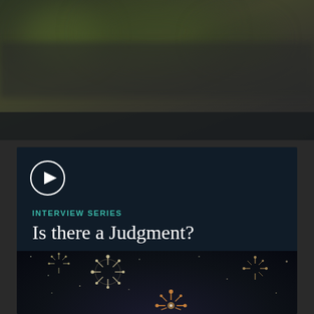[Figure (photo): Blurred outdoor photo forming dark green-brown background at top of page]
[Figure (photo): Dark navy card with play button circle icon, teal 'INTERVIEW SERIES' label, white title 'Is there a Judgment?', and fireworks burst photo in dark night sky background]
INTERVIEW SERIES
Is there a Judgment?